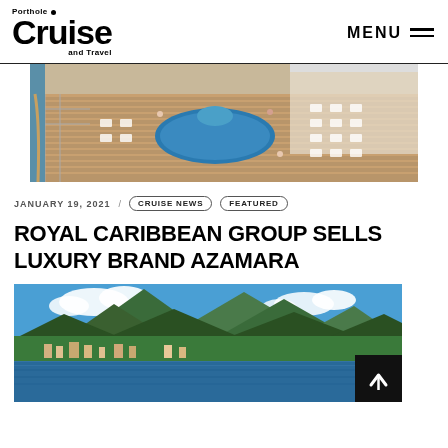Porthole Cruise and Travel — MENU
[Figure (photo): Aerial view of a cruise ship deck with pool, hot tubs, lounge chairs and dining tables with passengers]
JANUARY 19, 2021 / CRUISE NEWS FEATURED
ROYAL CARIBBEAN GROUP SELLS LUXURY BRAND AZAMARA
[Figure (photo): Scenic harbor view with lush green mountains, blue water, and a coastal town, likely in the Caribbean]